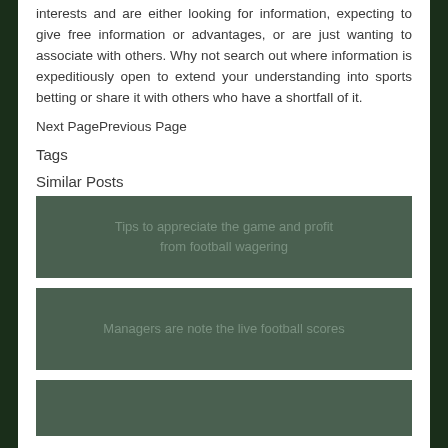interests and are either looking for information, expecting to give free information or advantages, or are just wanting to associate with others. Why not search out where information is expeditiously open to extend your understanding into sports betting or share it with others who have a shortfall of it.
Next PagePrevious Page
Tags
Similar Posts
[Figure (other): Dark green card with text: Tips to appreciate the game and profit from football wagering]
[Figure (other): Dark green card with text: Managers are note the live football scores]
[Figure (other): Dark green card (partially visible at bottom)]